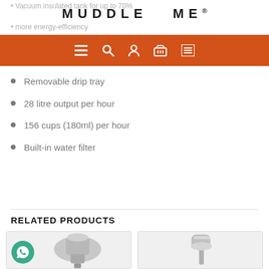Vacuum insulated tank for up to 70%
MUDDLE ME®
more energy-efficiency
[Figure (screenshot): Orange navigation bar with hamburger menu, search, user, basket, and list icons in white]
Removable drip tray
28 litre output per hour
156 cups (180ml) per hour
Built-in water filter
RELATED PRODUCTS
[Figure (photo): Product image of a coffee machine component, silver/chrome, with a green WhatsApp chat button overlay]
[Figure (photo): Product image of a chrome/silver water tap or dispenser nozzle]